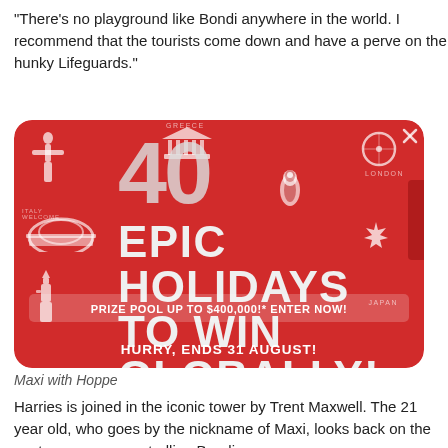"There's no playground like Bondi anywhere in the world. I recommend that the tourists come down and have a perve on the hunky Lifeguards."
[Figure (infographic): Red promotional advertisement card with rounded corners showing '40 EPIC HOLIDAYS TO WIN GLOBALLY!' with prize pool up to $400,000, ending 31 August. Features decorative icons of world landmarks including Christ the Redeemer, Colosseum, Statue of Liberty, Parthenon, penguin, and maple leaf representing various countries (Greece, London, Italy, Japan).]
Maxi with Hoppe
Harries is joined in the iconic tower by Trent Maxwell. The 21 year old, who goes by the nickname of Maxi, looks back on the past seven years patrolling Bondi...